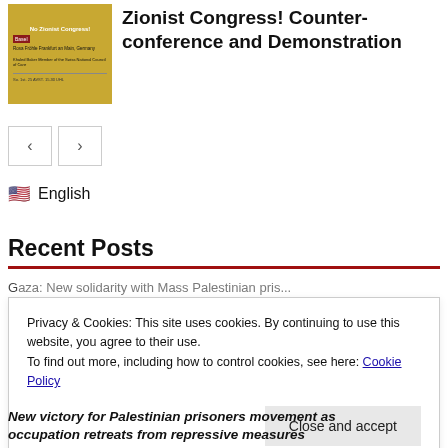[Figure (photo): Thumbnail image of a poster/flyer with gold/yellow background, showing event details for a Zionist Congress counter-conference]
27 and 28 August, Basel: No to the Zionist Congress! Counter-conference and Demonstration
[Figure (other): Navigation arrows: left arrow button and right arrow button]
🇺🇸 English
Recent Posts
Privacy & Cookies: This site uses cookies. By continuing to use this website, you agree to their use.
To find out more, including how to control cookies, see here: Cookie Policy
Close and accept
New victory for Palestinian prisoners movement as occupation retreats from repressive measures